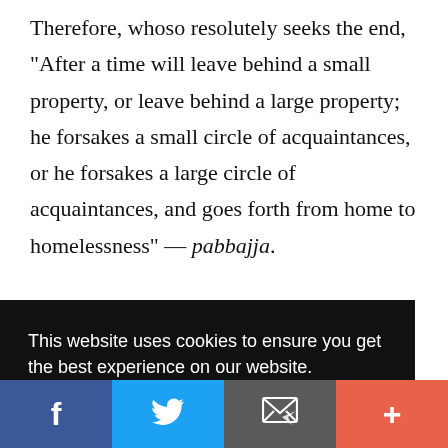Therefore, whoso resolutely seeks the end, "After a time will leave behind a small property, or leave behind a large property; he forsakes a small circle of acquaintances, or he forsakes a large circle of acquaintances, and goes forth from home to homelessness" — pabbajja.
But father and mother, wife and children, love and
od
[Figure (screenshot): Cookie consent overlay banner with black background, text 'This website uses cookies to ensure you get the best experience on our website.' and a yellow 'Got it!' button.]
[Figure (screenshot): Social sharing bar at the bottom with four buttons: Facebook (blue, f icon), Twitter (light blue, bird icon), Email (gray, envelope icon), and Add/More (red-orange, + icon).]